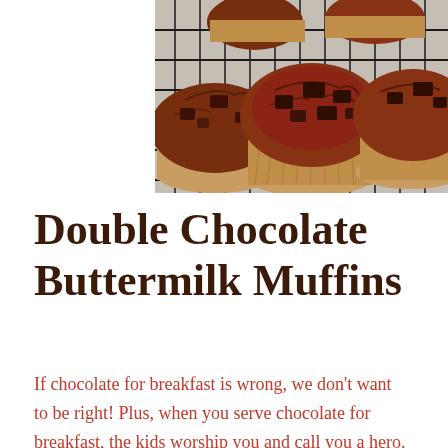[Figure (photo): Chocolate muffins with chocolate chunks on top, sitting on a wire cooling rack. Multiple muffins visible in paper liners, photographed from above at a slight angle.]
Double Chocolate Buttermilk Muffins
If chocolate for breakfast is wrong, we don't want to be right! Plus, when you serve chocolate for breakfast, the kids worship you and call you a hero. You want to be a hero, right? These double